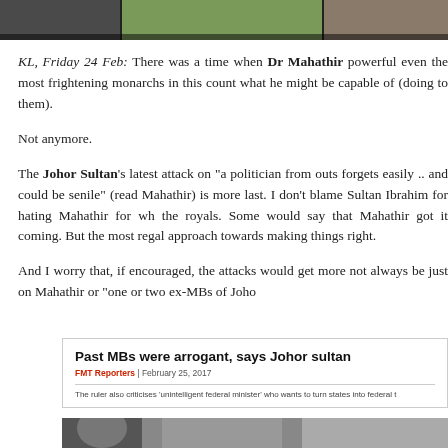[Figure (photo): Top banner photo showing cropped images of people]
KL, Friday 24 Feb: There was a time when Dr Mahathir powerful even the most frightening monarchs in this count what he might be capable of (doing to them).
Not anymore.
The Johor Sultan's latest attack on "a politician from outs forgets easily .. and could be senile" (read Mahathir) is more last. I don't blame Sultan Ibrahim for hating Mahathir for wh the royals. Some would say that Mahathir got it coming. But the most regal approach towards making things right.
And I worry that, if encouraged, the attacks would get more not always be just on Mahathir or "one or two ex-MBs of Joho
[Figure (screenshot): Embedded news article screenshot: 'Past MBs were arrogant, says Johor sultan' - FMT Reporters, February 25, 2017. The ruler also criticises 'unintelligent federal minister' who wants to turn states into federal t...]
[Figure (photo): Bottom photo strip showing people, partially visible]